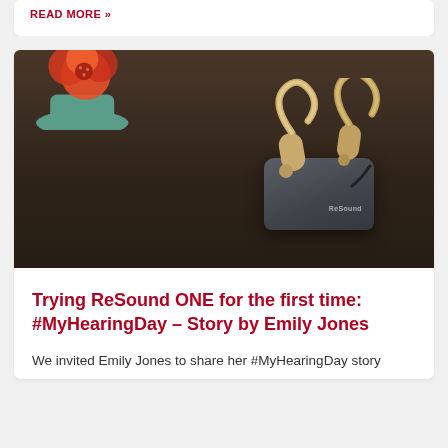READ MORE »
[Figure (photo): Photo of a ReSound hearing aid charger case on a dark wooden table with a flower/plant in the background on the left. Two gold hearing aids sit in the charger.]
Trying ReSound ONE for the first time: #MyHearingDay – Story by Emily Jones
We invited Emily Jones to share her #MyHearingDay story